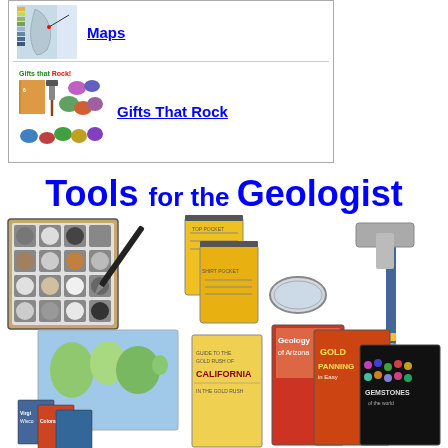[Figure (illustration): Thumbnail of a geological map with color legend]
Maps
[Figure (illustration): Thumbnail showing gifts that rock - books, hammer, gems]
Gifts That Rock
Tools for the Geologist
[Figure (illustration): Collage of geologist tools: rock sample kit, pen, field notebooks, magnifier, rock hammer, world map, state maps, geology books including Gold Panning, Gemstones of the World, Geology of Arizona, California gold book]